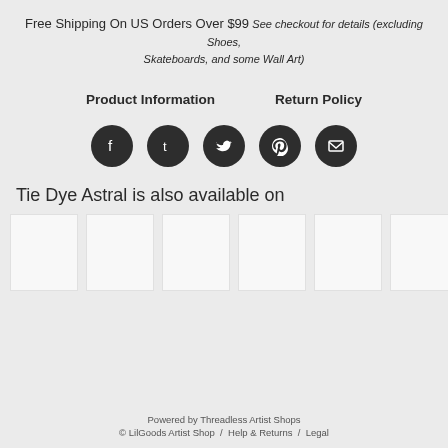Free Shipping On US Orders Over $99 See checkout for details (excluding Shoes, Skateboards, and some Wall Art)
Product Information   Return Policy
[Figure (other): Social media share icons: Facebook, Tumblr, Twitter, Pinterest, Email — all dark circular buttons]
Tie Dye Astral is also available on
[Figure (other): Row of 6 white product thumbnail image placeholders]
Powered by Threadless Artist Shops
© LilGoods Artist Shop / Help & Returns / Legal